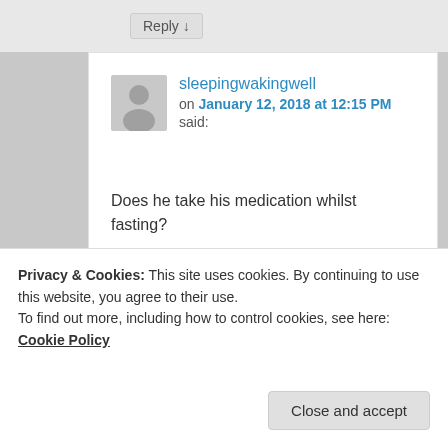Reply ↓
sleepingwakingwell on January 12, 2018 at 12:15 PM said:
Does he take his medication whilst fasting?
★ Like
Reply ↓
Privacy & Cookies: This site uses cookies. By continuing to use this website, you agree to their use.
To find out more, including how to control cookies, see here: Cookie Policy
Close and accept
medication, then you cannot dry